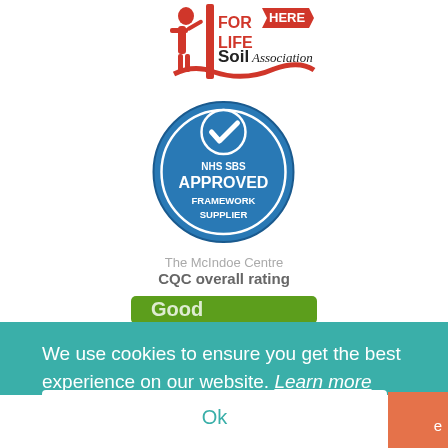[Figure (logo): Soil Association 'Food for Life' logo with red illustrated figures and black text]
[Figure (logo): NHS SBS Approved Framework Supplier circular badge in blue with white checkmark and text]
The McIndoe Centre
CQC overall rating
[Figure (screenshot): Partially visible green button with text starting 'Good']
We use cookies to ensure you get the best experience on our website. Learn more
Ok